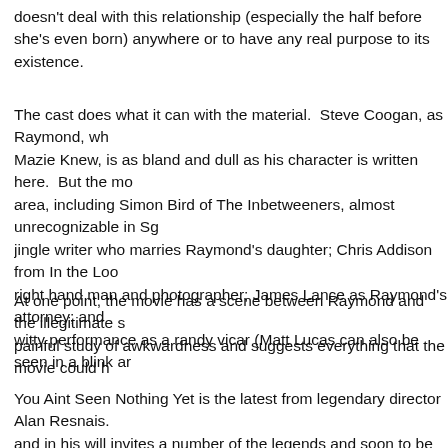doesn't deal with this relationship (especially the half before she's even born) anywhere or to have any real purpose to its existence.
The cast does what it can with the material.  Steve Coogan, as Raymond, wh Mazie Knew, is as bland and dull as his character is written here.  But the mo area, including Simon Bird of The Inbetweeners, almost unrecognizable in Sg jingle writer who marries Raymond's daughter; Chris Addison from In the Loo right hand man and photographer; James Lance as Raymond's attorney; and witty performance as a randy vicar (Matt Lucas can also be seen in a blink ar
At one point, the movie has a scene between Raymond and the illegitimate s painful study of awkwardness and suggests everything that the movie could h
You Aint Seen Nothing Yet is the latest from legendary director Alan Resnais. and in his will invites a number of the legends and soon to be legends of Fra